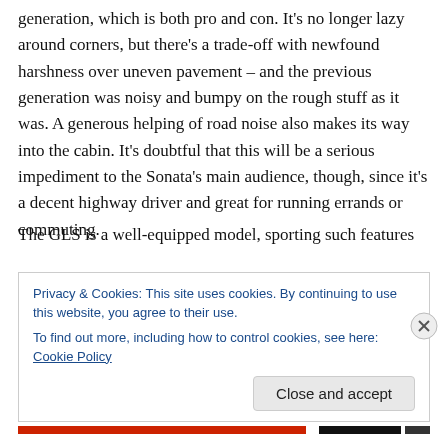generation, which is both pro and con. It's no longer lazy around corners, but there's a trade-off with newfound harshness over uneven pavement – and the previous generation was noisy and bumpy on the rough stuff as it was. A generous helping of road noise also makes its way into the cabin. It's doubtful that this will be a serious impediment to the Sonata's main audience, though, since it's a decent highway driver and great for running errands or commuting.
The GLS is a well-equipped model, sporting such features
Privacy & Cookies: This site uses cookies. By continuing to use this website, you agree to their use.
To find out more, including how to control cookies, see here: Cookie Policy